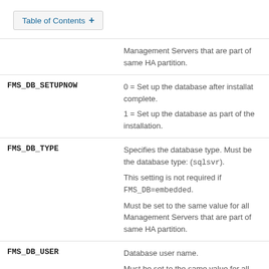Table of Contents +
| Parameter | Description |
| --- | --- |
|  | Management Servers that are part of same HA partition. |
| FMS_DB_SETUPNOW | 0 = Set up the database after installation complete.
1 = Set up the database as part of the installation. |
| FMS_DB_TYPE | Specifies the database type. Must be the database type: (sqlsvr).
This setting is not required if FMS_DB=embedded.
Must be set to the same value for all Management Servers that are part of same HA partition. |
| FMS_DB_USER | Database user name.
Must be set to the same value for all Management Servers that are part of same HA partition. |